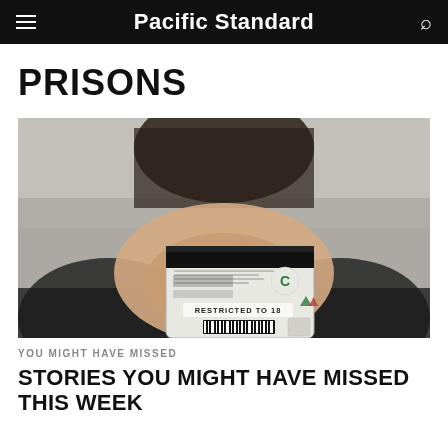Pacific Standard
PRISONS
[Figure (photo): A person holding up the back of an ID card toward the camera with text 'RESTRICTED TO 18' visible on the card.]
YOU MIGHT HAVE MISSED
STORIES YOU MIGHT HAVE MISSED THIS WEEK